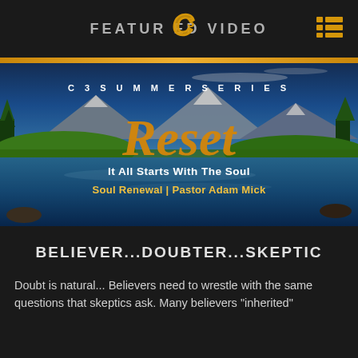FEATURED VIDEO
[Figure (photo): C3 Summer Series 'Reset - It All Starts With The Soul' promotional image showing mountain lake landscape with text overlay: 'C3 SUMMER SERIES', 'Reset', 'It All Starts With The Soul', 'Soul Renewal | Pastor Adam Mick']
BELIEVER...DOUBTER...SKEPTIC
Doubt is natural... Believers need to wrestle with the same questions that skeptics ask. Many believers "inherited"